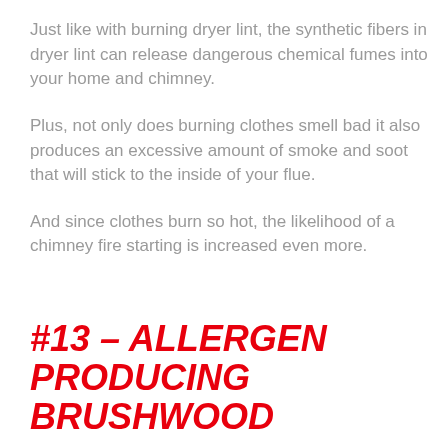Just like with burning dryer lint, the synthetic fibers in dryer lint can release dangerous chemical fumes into your home and chimney.
Plus, not only does burning clothes smell bad it also produces an excessive amount of smoke and soot that will stick to the inside of your flue.
And since clothes burn so hot, the likelihood of a chimney fire starting is increased even more.
#13 – ALLERGEN PRODUCING BRUSHWOOD